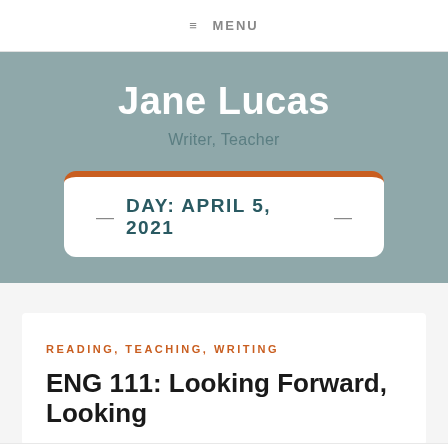MENU
Jane Lucas
Writer, Teacher
DAY: APRIL 5, 2021
READING, TEACHING, WRITING
ENG 111: Looking Forward, Looking Back